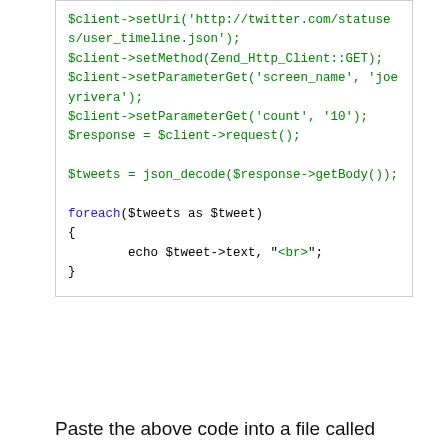[Figure (screenshot): Code block showing PHP code using Zend_Http_Client to fetch Twitter user timeline JSON, decode it, and echo tweet text in a foreach loop.]
Paste the above code into a file called